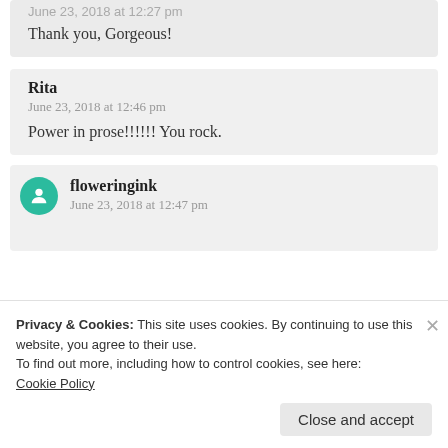June 23, 2018 at 12:27 pm
Thank you, Gorgeous!
Rita
June 23, 2018 at 12:46 pm
Power in prose!!!!!! You rock.
floweringink
June 23, 2018 at 12:47 pm
Privacy & Cookies: This site uses cookies. By continuing to use this website, you agree to their use.
To find out more, including how to control cookies, see here: Cookie Policy
Close and accept